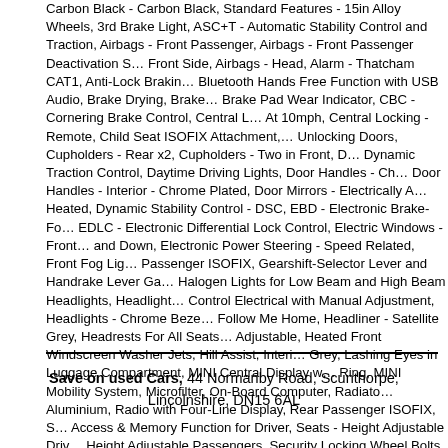Carbon Black - Carbon Black, Standard Features - 15in Alloy Wheels, 3rd Brake Light, ASC+T - Automatic Stability Control and Traction, Airbags - Front Passenger, Airbags - Front Passenger Deactivation Switch, Airbags - Front Side, Airbags - Head, Alarm - Thatcham CAT1, Anti-Lock Braking, Bluetooth Hands Free Function with USB Audio, Brake Drying, Brake Pad Wear Indicator, CBC - Cornering Brake Control, Central Locking - At 10mph, Central Locking - Remote, Child Seat ISOFIX Attachment, Deadlocking Doors, Cupholders - Rear x2, Cupholders - Two in Front, Dynamic Traction Control, Daytime Driving Lights, Door Handles - Chrome Exterior, Door Handles - Interior - Chrome Plated, Door Mirrors - Electrically Adjusted & Heated, Dynamic Stability Control - DSC, EBD - Electronic Brake-Force, EDLC - Electronic Differential Lock Control, Electric Windows - Front Up and Down, Electronic Power Steering - Speed Related, Front Fog Lights, Front Passenger ISOFIX, Gearshift-Selector Lever and Handrake Lever Gaiter, Halogen Lights for Low Beam and High Beam Headlights, Headlight Beam Control Electrical with Manual Adjustment, Headlights - Chrome Bezel with Follow Me Home, Headliner - Satellite Grey, Headrests For All Seats are Adjustable, Heated Front Windscreen Washer Jets, Hill Assist, Interior - Grey, Lashing Eyes in Luggage Compartment, MINI Central Display with Ring, MINI Mobility System, Microfilter, On-Board Computer, Radiator Grille Aluminium, Radio with Four-Line Display, Rear Passenger ISOFIX, Seat Access & Memory Function for Driver, Seats - Height Adjustable Driver, Seats - Height Adjustable Passengers, Security Locking Wheel Bolts, Spoiler, Stop Button with Keyless Start, Steering Column Height and Length Adjustable, Visors with Integrated Vanity Mirrors, TPWS - Tyre Pressure Warning System, in Luggage Compartment, OPEN 7 DAYS A WEEK / SEE WEBSITE FOR DETAILS, PART EXCHANGE WELCOME, WAS £9,988, NOW £8,848
Save on used Cars, 44 Normanby Road, Scunthorpe, Lincolnshire, DN15 6AL